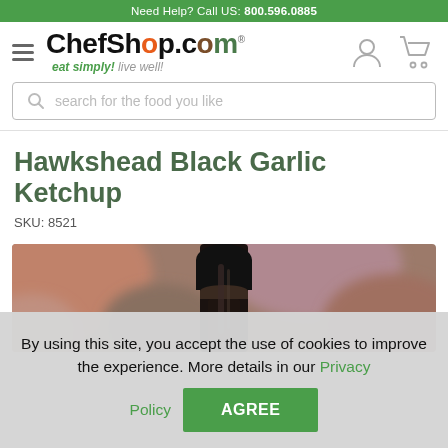Need Help? Call US: 800.596.0885
[Figure (logo): ChefShop.com logo with hamburger menu icon, user icon, and cart icon. Tagline: eat simply! live well!]
search for the food you like
Hawkshead Black Garlic Ketchup
SKU: 8521
[Figure (photo): Close-up photo of the neck and cap of a dark glass bottle of Hawkshead Black Garlic Ketchup against a blurred colorful background.]
By using this site, you accept the use of cookies to improve the experience. More details in our Privacy Policy
AGREE